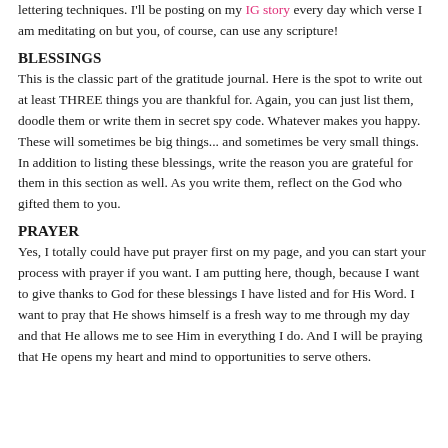lettering techniques.  I'll be posting on my IG story every day which verse I am meditating on but you, of course, can use any scripture!
BLESSINGS
This is the classic part of the gratitude journal.  Here is the spot to write out at least THREE things you are thankful for.  Again, you can just list them, doodle them or write them in secret spy code.  Whatever makes you happy.  These will sometimes be big things... and sometimes be very small things.  In addition to listing these blessings, write the reason you are grateful for them in this section as well.  As you write them, reflect on the God who gifted them to you.
PRAYER
Yes, I totally could have put prayer first on my page, and you can start your process with prayer if you want.  I am putting here, though, because I want to give thanks to God for these blessings I have listed and for His Word.  I want to pray that He shows himself is a fresh way to me through my day and that He allows me to see Him in everything I do.  And I will be praying that He opens my heart and mind to opportunities to serve others.